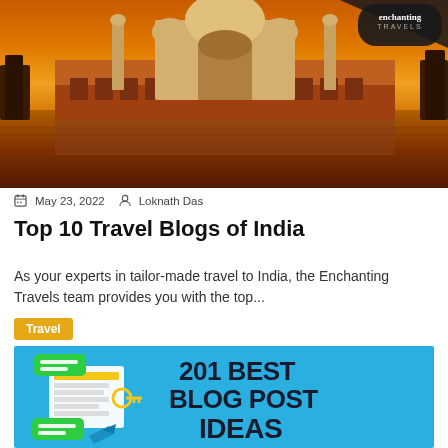[Figure (photo): Golden hour photo of the Taj Mahal reflected in the river, with an 'enchanting TRAVELS' logo in the top right corner]
May 23, 2022  Loknath Das
Top 10 Travel Blogs of India
As your experts in tailor-made travel to India, the Enchanting Travels team provides you with the top...
Travel
[Figure (infographic): Blue background infographic showing '201 BEST BLOG POST IDEAS' text in bold on the right, with illustration of blog/document icons, key, and airplane on the left]